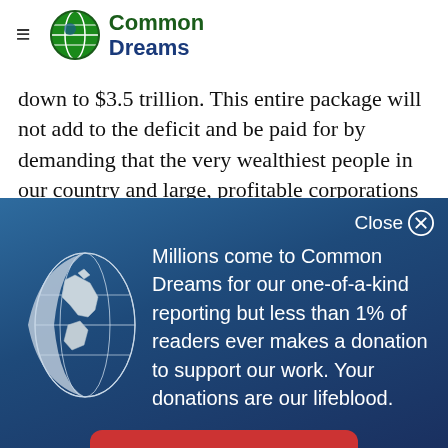Common Dreams
down to $3.5 trillion. This entire package will not add to the deficit and be paid for by demanding that the very wealthiest people in our country and large, profitable corporations start paying their fair share of
[Figure (screenshot): Common Dreams donation modal overlay with globe icon, text about readership and donations, and a red Donate Now button]
Millions come to Common Dreams for our one-of-a-kind reporting but less than 1% of readers ever makes a donation to support our work. Your donations are our lifeblood.
DONATE NOW